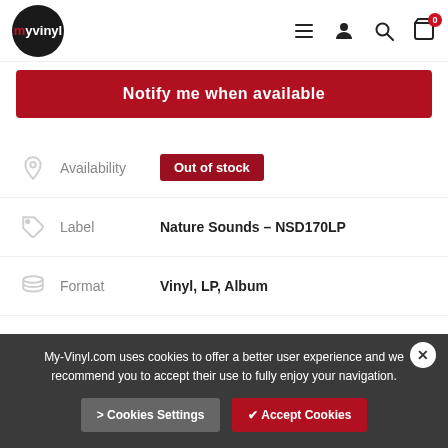myvinyl - navigation header with logo, menu, user, search, cart icons
Notify me when available
| Field | Value |
| --- | --- |
| Availability | Out of stock |
| Label | Nature Sounds – NSD170LP |
| Format | Vinyl, LP, Album |
| Country | US |
My-Vinyl.com uses cookies to offer a better user experience and we recommend you to accept their use to fully enjoy your navigation.
> Cookies Settings
✔ Accept Cookies